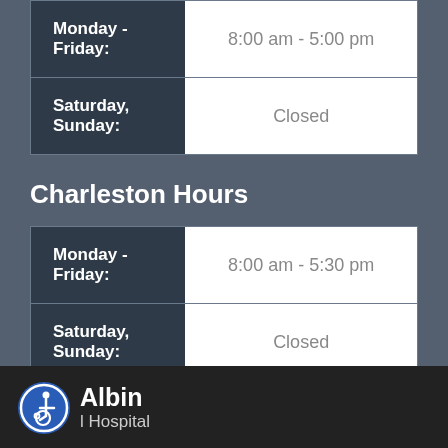| Day | Hours |
| --- | --- |
| Monday - Friday: | 8:00 am - 5:00 pm |
| Saturday, Sunday: | Closed |
Charleston Hours
| Day | Hours |
| --- | --- |
| Monday - Friday: | 8:00 am - 5:30 pm |
| Saturday, Sunday: | Closed |
Albin ... l Hospital